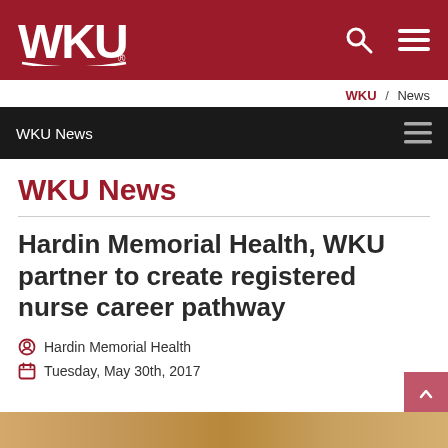WKU
WKU / News
WKU News
WKU News
Hardin Memorial Health, WKU partner to create registered nurse career pathway
Hardin Memorial Health
Tuesday, May 30th, 2017